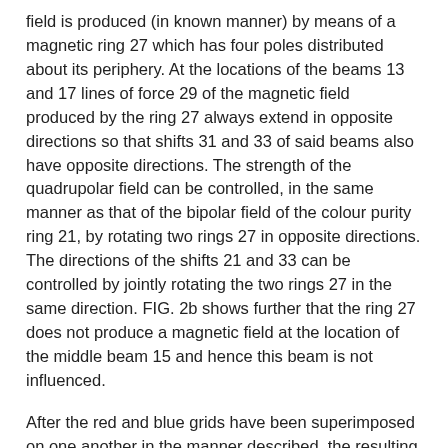field is produced (in known manner) by means of a magnetic ring 27 which has four poles distributed about its periphery. At the locations of the beams 13 and 17 lines of force 29 of the magnetic field produced by the ring 27 always extend in opposite directions so that shifts 31 and 33 of said beams also have opposite directions. The strength of the quadrupolar field can be controlled, in the same manner as that of the bipolar field of the colour purity ring 21, by rotating two rings 27 in opposite directions. The directions of the shifts 21 and 33 can be controlled by jointly rotating the two rings 27 in the same direction. FIG. 2b shows further that the ring 27 does not produce a magnetic field at the location of the middle beam 15 and hence this beam is not influenced.
After the red and blue grids have been superimposed on one another in the manner described, the resulting combined grid must be brought into register with the green grid. For this purpose the beams 13 and 17 are to be shifted in the same direction through equal distances, as is shown in FIG. 2c. This can be obtained by means of a sextupolar magnetic field which is produced by a magnetic ring 35 having six magnetic poles distributed about its periphery. As FIG. 2c